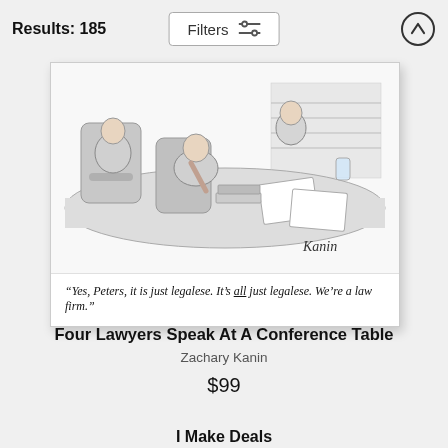Results: 185
Filters
[Figure (illustration): New Yorker-style cartoon by Zachary Kanin showing four lawyers seated at a conference table with papers and books. Caption reads: "Yes, Peters, it is just legalese. It's all just legalese. We're a law firm."]
"Yes, Peters, it is just legalese. It's all just legalese. We're a law firm."
Four Lawyers Speak At A Conference Table
Zachary Kanin
$99
I Make Deals